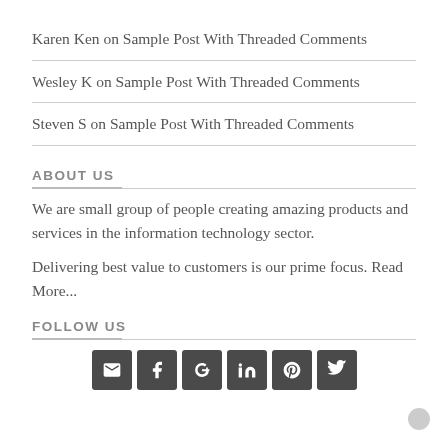Karen Ken on Sample Post With Threaded Comments
Wesley K on Sample Post With Threaded Comments
Steven S on Sample Post With Threaded Comments
ABOUT US
We are small group of people creating amazing products and services in the information technology sector.
Delivering best value to customers is our prime focus. Read More...
FOLLOW US
[Figure (infographic): Row of six social media icon buttons (email, Facebook, Google+, LinkedIn, Pinterest, Twitter) displayed as dark rounded-square icons]